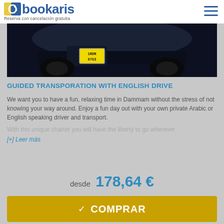bookaris - Reserva con cancelación gratuita
[Figure (photo): Photo of a dark car from the front/top, showing a yellow license plate with Arabic text (1RDR 9753)]
GUIDED TRANSPORATION WITH ENGLISH DRIVE
We want you to have a fun, relaxing time in Dammam without the stress of not knowing your way around. Enjoy a fun day out with your own private Arabic or English speaking driver and transport. With this unique charter you will have the liberty to go wherever
[+] Leer más
desde 178,64 €
✓ COMPRAR